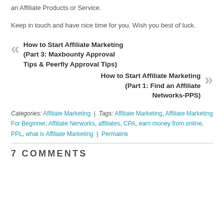an Affiliate Products or Service.
Keep in touch and have nice time for you. Wish you best of luck.
« How to Start Affiliate Marketing (Part 3: Maxbounty Approval Tips & Peerfly Approval Tips)
How to Start Affiliate Marketing (Part 1: Find an Affiliate Networks-PPS) »
Categories: Affiliate Marketing | Tags: Affiliate Marketing, Affiliate Marketing For Beginner, Affiliate Nerworks, affiliates, CPA, earn money from online, PPL, what is Affiliate Marketing | Permalink
7 COMMENTS